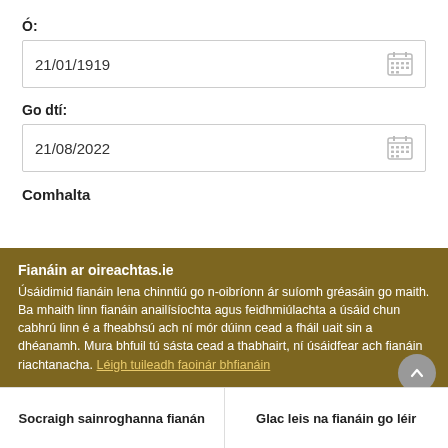Ó:
21/01/1919
Go dtí:
21/08/2022
Comhalta
Fianáin ar oireachtas.ie
Úsáidimid fianáin lena chinntiú go n-oibríonn ár suíomh gréasáin go maith. Ba mhaith linn fianáin anailísíochta agus feidhmiúlachta a úsáid chun cabhrú linn é a fheabhsú ach ní mór dúinn cead a fháil uait sin a dhéanamh. Mura bhfuil tú sásta cead a thabhairt, ní úsáidfear ach fianáin riachtanacha. Léigh tuileadh faoinár bhfianáin
Socraigh sainroghanna fianán
Glac leis na fianáin go léir